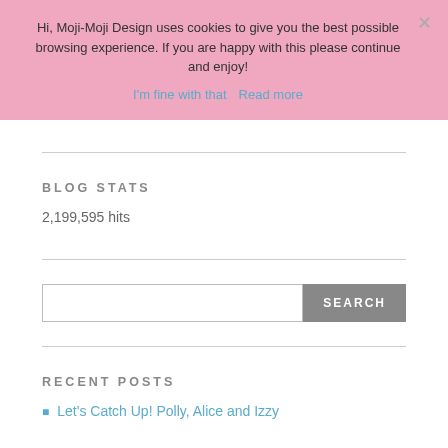Hi, Moji-Moji Design uses cookies to give you the best possible browsing experience. If you are happy with this please continue and enjoy!
I'm fine with that   Read more
BLOG STATS
2,199,595 hits
SEARCH
RECENT POSTS
Let's Catch Up! Polly, Alice and Izzy